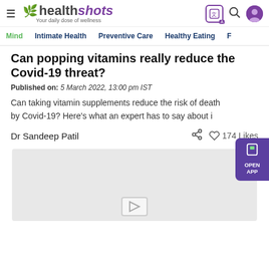healthshots — Your daily dose of wellness
Mind  Intimate Health  Preventive Care  Healthy Eating  F
Can popping vitamins really reduce the Covid-19 threat?
Published on: 5 March 2022, 13:00 pm IST
Can taking vitamin supplements reduce the risk of death by Covid-19? Here's what an expert has to say about i
Dr Sandeep Patil
174 Likes
[Figure (photo): Article image placeholder (light grey background with video play icon)]